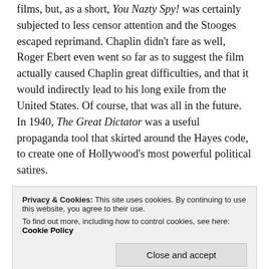films, but, as a short, You Nazty Spy! was certainly subjected to less censor attention and the Stooges escaped reprimand. Chaplin didn't fare as well, Roger Ebert even went so far as to suggest the film actually caused Chaplin great difficulties, and that it would indirectly lead to his long exile from the United States. Of course, that was all in the future. In 1940, The Great Dictator was a useful propaganda tool that skirted around the Hayes code, to create one of Hollywood's most powerful political satires.
In January 1940, several American political figures had already expressed dissatisfaction with the Hollywood system. Senator Burton K. Wheeler, an avowed
Dictator would surely have only strengthened the
Privacy & Cookies: This site uses cookies. By continuing to use this website, you agree to their use. To find out more, including how to control cookies, see here: Cookie Policy
Close and accept